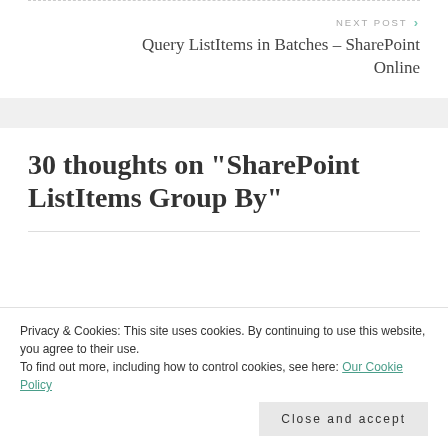NEXT POST
Query ListItems in Batches – SharePoint Online
30 thoughts on “SharePoint ListItems Group By”
Privacy & Cookies: This site uses cookies. By continuing to use this website, you agree to their use.
To find out more, including how to control cookies, see here: Our Cookie Policy
Close and accept
RenderListData something about it not being a